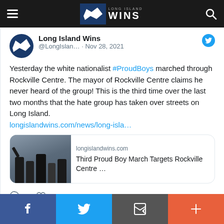Long Island Wins — website header navigation bar
[Figure (screenshot): Long Island Wins logo in header navigation bar]
Long Island Wins @LongIslan... · Nov 28, 2021
Yesterday the white nationalist #ProudBoys marched through Rockville Centre. The mayor of Rockville Centre claims he never heard of the group! This is the third time over the last two months that the hate group has taken over streets on Long Island. longislandwins.com/news/long-isla…
[Figure (screenshot): Link preview card for article: longislandwins.com — Third Proud Boy March Targets Rockville Centre …]
Facebook share | Twitter share | Email share | More share options — bottom sharing bar